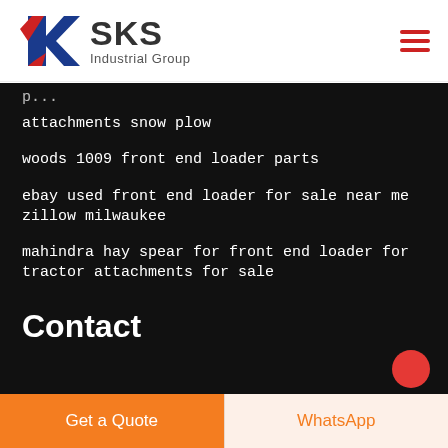[Figure (logo): SKS Industrial Group logo with red and blue K emblem]
attachments snow plow
woods 1009 front end loader parts
ebay used front end loader for sale near me zillow milwaukee
mahindra hay spear for front end loader for tractor attachments for sale
Contact
Get a Quote
WhatsApp